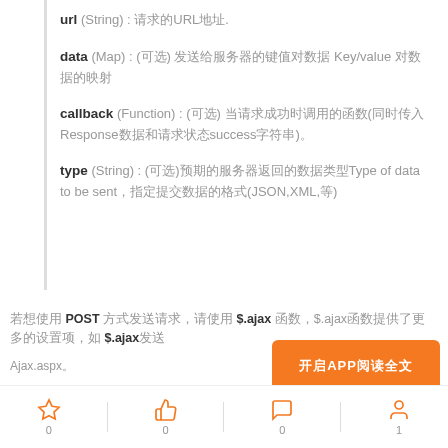url (String) : 请求的URL地址.
data (Map) : (可选) 发送给服务器的键值对数据 Key/value 对数据的映射
callback (Function) : (可选) 当请求成功时调用的函数(同时传入Response数据和请求状态success字符串)。
type (String) : (可选)预期的服务器返回的数据类型Type of data to be sent，指定提交数据的格式(JSON,XML,等)
若想使用 POST 方式发送请求，请使用 $.ajax 函数，$.ajax函数提供了更多的设置项，如 $.ajax发送 Ajax.aspx。
[Figure (other): Orange button labeled 开启APP阅读全文]
Ajax.aspx。
Response.ContentType = "application/json";
0 favorites | 0 likes | 0 comments | 1 user